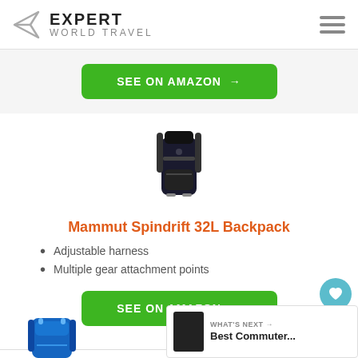EXPERT WORLD TRAVEL
[Figure (other): Green 'SEE ON AMAZON →' button]
[Figure (photo): Mammut Spindrift 32L black backpack product photo]
Mammut Spindrift 32L Backpack
Adjustable harness
Multiple gear attachment points
[Figure (other): Green 'SEE ON AMAZON →' button]
[Figure (photo): Partial view of blue backpack at bottom of page]
WHAT'S NEXT → Best Commuter...